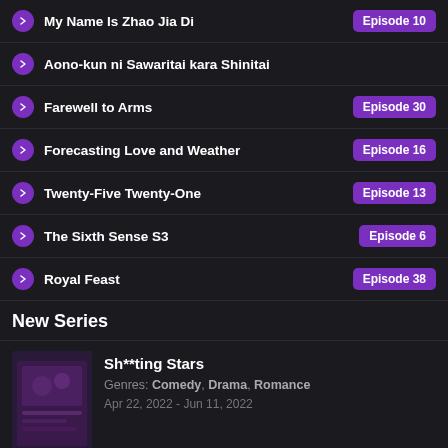My Name Is Zhao Jia Di — Episode 10
Aono-kun ni Sawaritai kara Shinitai
Farewell to Arms — Episode 30
Forecasting Love and Weather — Episode 16
Twenty-Five Twenty-One — Episode 13
The Sixth Sense S3 — Episode 6
Royal Feast — Episode 38
New Series
Sh**ting Stars
Genres: Comedy, Drama, Romance
Apr 22, 2022 - Jun 11, 2022
Murai no Koi
Genres: Comedy, Romance, School
Apr 6, 2022 - Jun 8, 2022